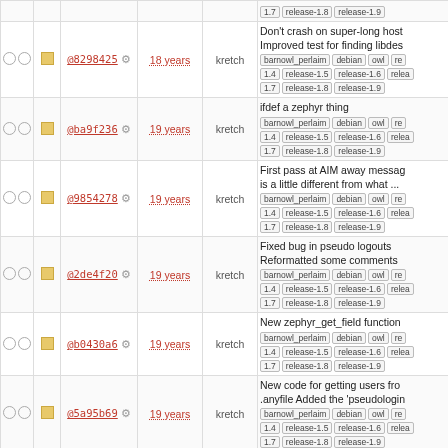|  |  | hash | age | author | description |
| --- | --- | --- | --- | --- | --- |
| ○○ | ▪ | @8298425 | 18 years | kretch | Don't crash on super-long host Improved test for finding libdes barnowl_perlaim debian owl re 1.4 release-1.5 release-1.6 relea 1.7 release-1.8 release-1.9 |
| ○○ | ▪ | @ba9f236 | 19 years | kretch | ifdef a zephyr thing barnowl_perlaim debian owl re 1.4 release-1.5 release-1.6 relea 1.7 release-1.8 release-1.9 |
| ○○ | ▪ | @9854278 | 19 years | kretch | First pass at AIM away message is a little different from what ... barnowl_perlaim debian owl re 1.4 release-1.5 release-1.6 relea 1.7 release-1.8 release-1.9 |
| ○○ | ▪ | @2de4f20 | 19 years | kretch | Fixed bug in pseudo logouts Reformatted some comments barnowl_perlaim debian owl re 1.4 release-1.5 release-1.6 relea 1.7 release-1.8 release-1.9 |
| ○○ | ▪ | @b0430a6 | 19 years | kretch | New zephyr_get_field function barnowl_perlaim debian owl re 1.4 release-1.5 release-1.6 relea 1.7 release-1.8 release-1.9 |
| ○○ | ▪ | @5a95b69 | 19 years | kretch | New code for getting users from .anyfile Added the 'pseudologin barnowl_perlaim debian owl re 1.4 release-1.5 release-1.6 relea 1.7 release-1.8 release-1.9 |
| ○○ | ▪ | @25dd31a | 19 years | kretch | Added a timestamp to the defa style. barnowl_perlaim debian owl re 1.4 release-1.5 release-1.6 |